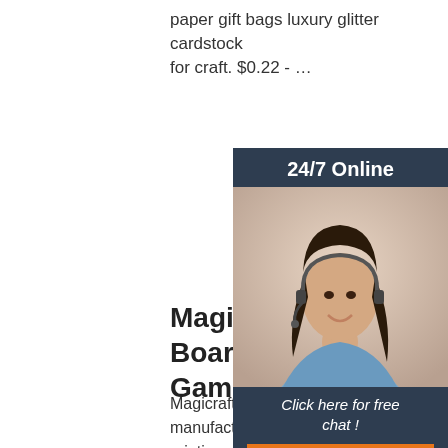paper gift bags luxury glitter cardstock for craft. $0.22 - …
Get Price
[Figure (screenshot): 24/7 Online customer service sidebar with photo of woman with headset, 'Click here for free chat!' text, and orange QUOTATION button]
Magicraft Co., Ltd. Board Game, Card Game
Magicraft Co, Ltd is a professional manufacturer in packaging and printing,gift boxes and paper bag are our main business. Our factory is located in shanghai equipment manufacturing industrial zone,china.covering an area of 10,000square meters.A factory
[Figure (logo): Orange TOP badge with dot pattern above text]